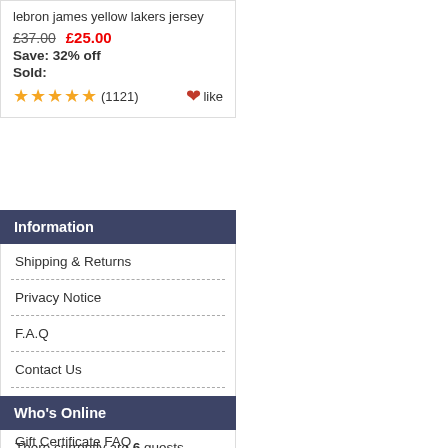lebron james yellow lakers jersey
£37.00  £25.00
Save: 32% off
Sold:
★★★★★ (1121)  ❤like
Information
Shipping & Returns
Privacy Notice
F.A.Q
Contact Us
Site Map
Gift Certificate FAQ
Discount Coupons
Newsletter Unsubscribe
Who's Online
There currently are 6 guests online.